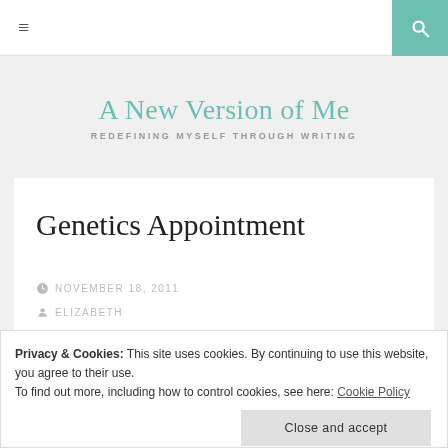≡  [search icon]
A New Version of Me
REDEFINING MYSELF THROUGH WRITING
Genetics Appointment
NOVEMBER 18, 2011
ELIZABETH
Privacy & Cookies: This site uses cookies. By continuing to use this website, you agree to their use. To find out more, including how to control cookies, see here: Cookie Policy
Close and accept
and were anxiously waiting to finally talk to the